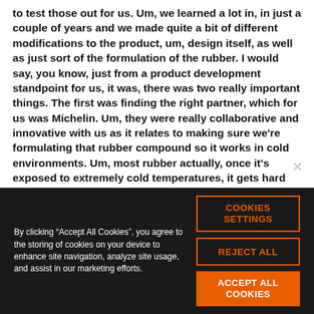to test those out for us. Um, we learned a lot in, in just a couple of years and we made quite a bit of different modifications to the product, um, design itself, as well as just sort of the formulation of the rubber. I would say, you know, just from a product development standpoint for us, it was, there was two really important things. The first was finding the right partner, which for us was Michelin. Um, they were really collaborative and innovative with us as it relates to making sure we're formulating that rubber compound so it works in cold environments. Um, most rubber actually, once it's exposed to extremely cold temperatures, it gets hard and brittle. So making sure we had a formula that allowed that rubber to stay soft and continue to grip, um, icy and snowy surfaces was, was really kind of our starting point. And then working with, um,
By clicking “Accept All Cookies”, you agree to the storing of cookies on your device to enhance site navigation, analyze site usage, and assist in our marketing efforts.
COOKIES SETTINGS
REJECT ALL
ACCEPT ALL COOKIES